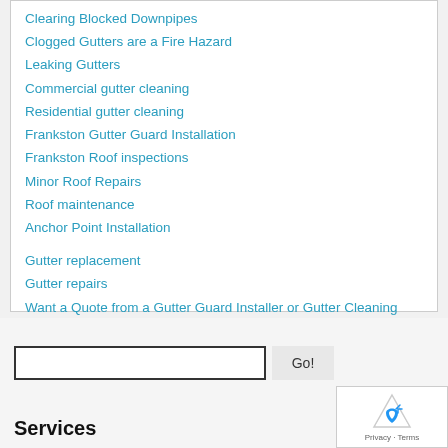Clearing Blocked Downpipes
Clogged Gutters are a Fire Hazard
Leaking Gutters
Commercial gutter cleaning
Residential gutter cleaning
Frankston Gutter Guard Installation
Frankston Roof inspections
Minor Roof Repairs
Roof maintenance
Anchor Point Installation
Gutter replacement
Gutter repairs
Want a Quote from a Gutter Guard Installer or Gutter Cleaning Expert
How much will it cost to have my gutters cleaned?
Services